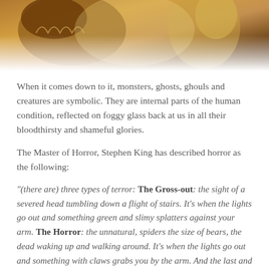[Figure (illustration): Fantastical illustration showing creature/monster imagery in warm golden and brown tones, partially cropped at the top of the page.]
When it comes down to it, monsters, ghosts, ghouls and creatures are symbolic. They are internal parts of the human condition, reflected on foggy glass back at us in all their bloodthirsty and shameful glories.
The Master of Horror, Stephen King has described horror as the following:
“(there are) three types of terror: The Gross-out: the sight of a severed head tumbling down a flight of stairs. It’s when the lights go out and something green and slimy splatters against your arm. The Horror: the unnatural, spiders the size of bears, the dead waking up and walking around. It’s when the lights go out and something with claws grabs you by the arm. And the last and worst one: Terror, when you come home and notice everything you own has been taken away and replaced